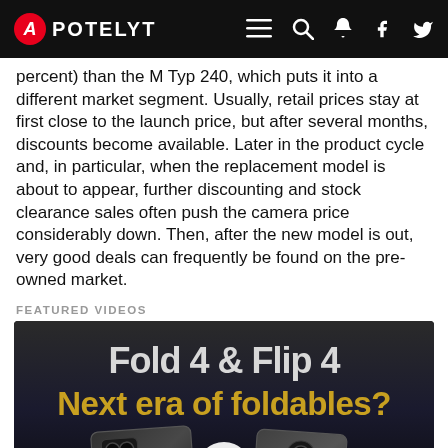APOTELYT
percent) than the M Typ 240, which puts it into a different market segment. Usually, retail prices stay at first close to the launch price, but after several months, discounts become available. Later in the product cycle and, in particular, when the replacement model is about to appear, further discounting and stock clearance sales often push the camera price considerably down. Then, after the new model is out, very good deals can frequently be found on the pre-owned market.
FEATURED VIDEOS
[Figure (photo): Video thumbnail showing text 'Fold 4 & Flip 4 Next era of foldables?' with two smartphones and a play button]